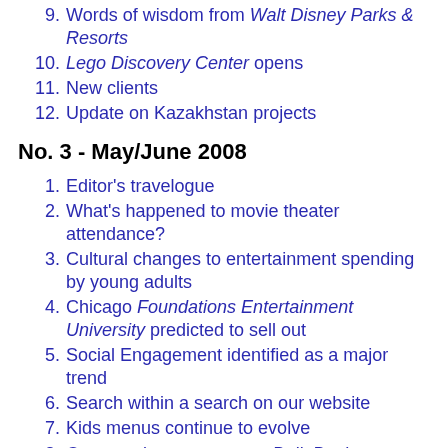9. Words of wisdom from Walt Disney Parks & Resorts
10. Lego Discovery Center opens
11. New clients
12. Update on Kazakhstan projects
No. 3 - May/June 2008
1. Editor's travelogue
2. What's happened to movie theater attendance?
3. Cultural changes to entertainment spending by young adults
4. Chicago Foundations Entertainment University predicted to sell out
5. Social Engagement identified as a major trend
6. Search within a search on our website
7. Kids menus continue to evolve
8. Construction progress on BellaBoo's children's play and discovery center
9. Review of National Restaurant Association Show
10. Sega to open family entertainment center in Dubai
No. 2 - March/April 2008